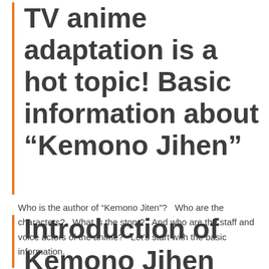TV anime adaptation is a hot topic! Basic information about “Kemono Jihen”
Who is the author of “Kemono Jiten”?   Who are the characters?   What is the story?   And who are the staff and voice actors of the anime?   Let's start with the basic information.
Introduction of Kemono Jihen